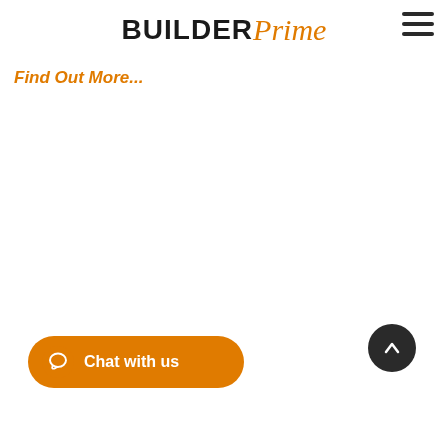BuilderPrime
Find Out More...
[Figure (other): Chat with us button with speech bubble icon, orange rounded pill shape]
[Figure (other): Scroll to top button, dark circle with upward chevron arrow]